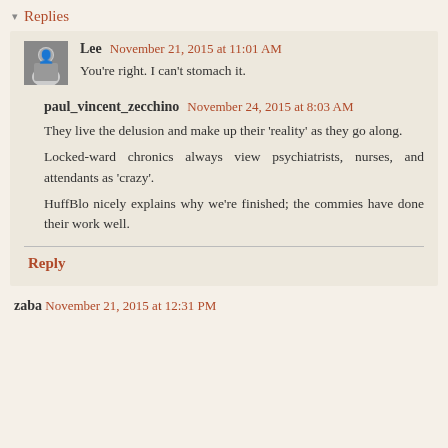▾ Replies
Lee  November 21, 2015 at 11:01 AM
You're right. I can't stomach it.
paul_vincent_zecchino  November 24, 2015 at 8:03 AM
They live the delusion and make up their 'reality' as they go along.
Locked-ward chronics always view psychiatrists, nurses, and attendants as 'crazy'.
HuffBlo nicely explains why we're finished; the commies have done their work well.
Reply
zaba  November 21, 2015 at 12:31 PM